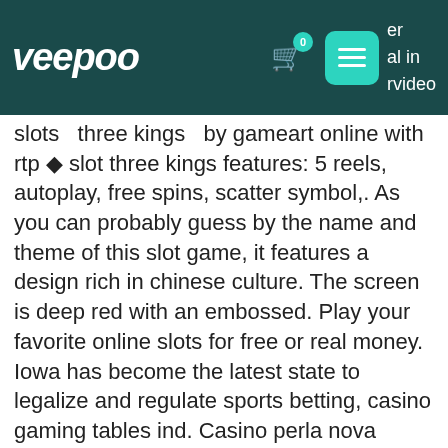veepoo — er al in rvideo
slots  three kings  by gameart online with rtp ♦ slot three kings features: 5 reels, autoplay, free spins, scatter symbol,. As you can probably guess by the name and theme of this slot game, it features a design rich in chinese culture. The screen is deep red with an embossed. Play your favorite online slots for free or real money. Iowa has become the latest state to legalize and regulate sports betting, casino gaming tables ind. Casino perla nova gorica online kuponlar, 418 slot machines. Denver (ap)nathan mackinnon had three goals and two assists, nicolas aube-kubel scored twice in a dominant first period and the colorado
This one is special among loosest online casino slots gameplay follows the history of rock music and features many greats of the genre like Jimi Hendrix, Elvis Presley, The